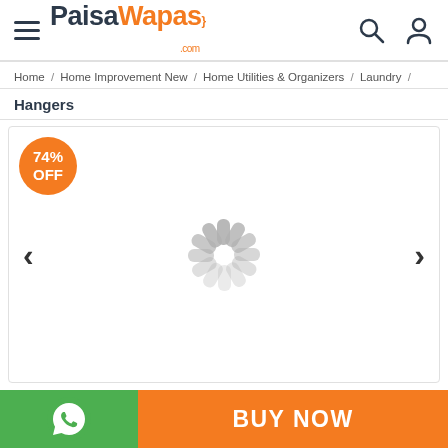PaisaWapas.com
Home / Home Improvement New / Home Utilities & Organizers / Laundry /
Hangers
[Figure (screenshot): Product image area with loading spinner, 74% OFF badge, and left/right navigation arrows]
BUY NOW